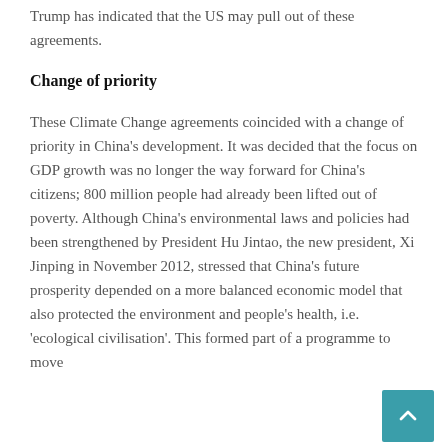Trump has indicated that the US may pull out of these agreements.
Change of priority
These Climate Change agreements coincided with a change of priority in China's development. It was decided that the focus on GDP growth was no longer the way forward for China's citizens; 800 million people had already been lifted out of poverty. Although China's environmental laws and policies had been strengthened by President Hu Jintao, the new president, Xi Jinping in November 2012, stressed that China's future prosperity depended on a more balanced economic model that also protected the environment and people's health, i.e. 'ecological civilisation'. This formed part of a programme to move